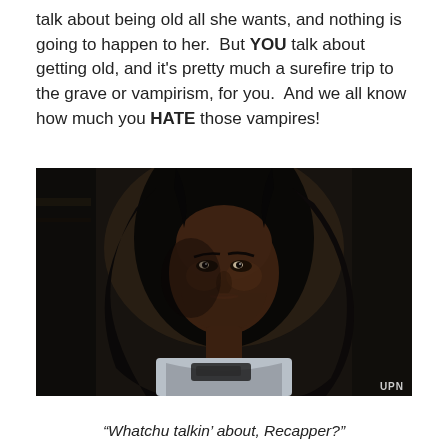talk about being old all she wants, and nothing is going to happen to her.  But YOU talk about getting old, and it's pretty much a surefire trip to the grave or vampirism, for you.  And we all know how much you HATE those vampires!
[Figure (photo): Dark dramatic photo of a Black woman with long dark hair, looking intensely at the camera, holding something (possibly a weapon), low-key lighting, watermark 'UPN' in bottom right corner.]
“Whatchu talkin’ about, Recapper?”